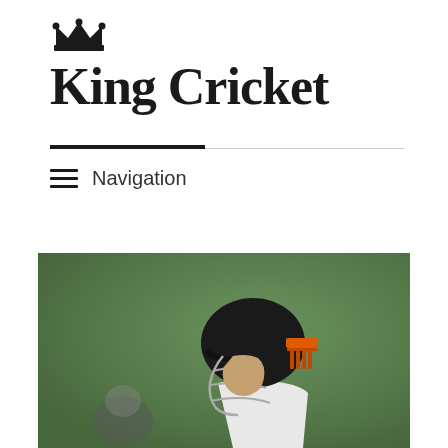[Figure (logo): King Cricket website logo with crown icon above text 'King Cricket' in bold serif font]
[Figure (photo): A cricket batsman wearing a black helmet with orange grille/peak, face guard, and white cricket clothing, photographed in profile against a green grass background]